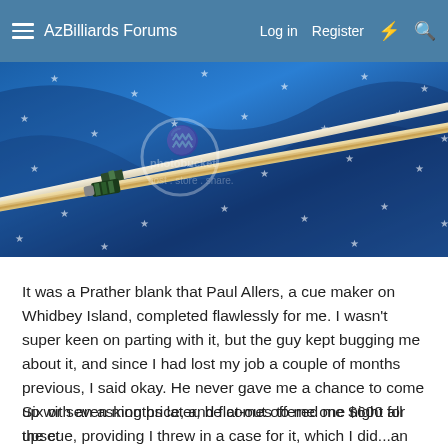AzBilliards Forums  Log in  Register
[Figure (photo): Two billiard cues lying on a blue velvet fabric with white stars pattern. The cues are wooden with decorative inlays at the joint. A Photobucket watermark overlay is visible: circular logo and text 'host store share'.]
It was a Prather blank that Paul Allers, a cue maker on Whidbey Island, completed flawlessly for me. I wasn't super keen on parting with it, but the guy kept bugging me about it, and since I had lost my job a couple of months previous, I said okay. He never gave me a chance to come up with an asking price, and flat-out offered me $600 for the cue, providing I threw in a case for it, which I did...an original Instroke 1x2. He was a very happy camper.
Six or seven months later, he comes to me one night all upset